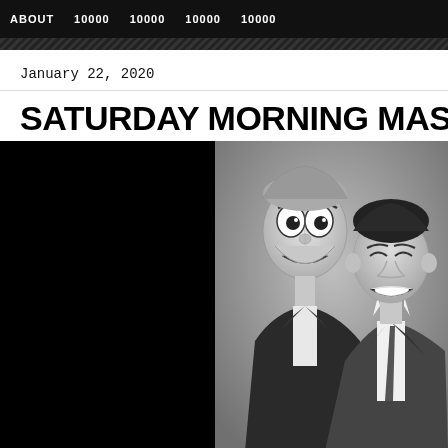ABOUT   10000   10000   10000   10000
January 22, 2020
SATURDAY MORNING MASTE
[Figure (photo): Black and white photograph of a man with a ventriloquist dummy. The dummy is dressed in a suit with a bow tie. The man is laughing and looking upward. Photo occupies right half of layout; left half is black.]